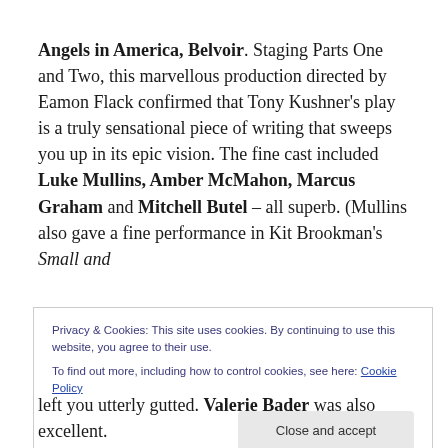Angels in America, Belvoir. Staging Parts One and Two, this marvellous production directed by Eamon Flack confirmed that Tony Kushner's play is a truly sensational piece of writing that sweeps you up in its epic vision. The fine cast included Luke Mullins, Amber McMahon, Marcus Graham and Mitchell Butel – all superb. (Mullins also gave a fine performance in Kit Brookman's Small and
Privacy & Cookies: This site uses cookies. By continuing to use this website, you agree to their use.
To find out more, including how to control cookies, see here: Cookie Policy
[Close and accept]
left you utterly gutted. Valerie Bader was also excellent.